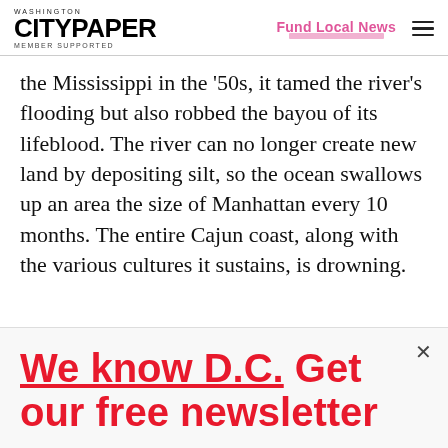Washington City Paper — Member Supported | Fund Local News
the Mississippi in the '50s, it tamed the river's flooding but also robbed the bayou of its lifeblood. The river can no longer create new land by depositing silt, so the ocean swallows up an area the size of Manhattan every 10 months. The entire Cajun coast, along with the various cultures it sustains, is drowning.
We know D.C. Get our free newsletter